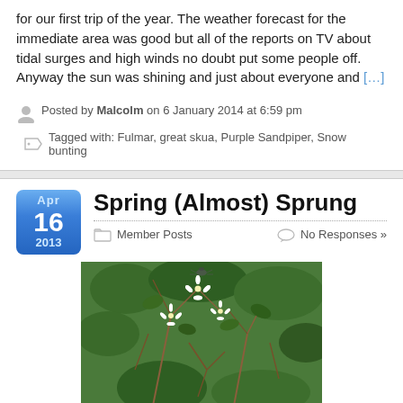for our first trip of the year. The weather forecast for the immediate area was good but all of the reports on TV about tidal surges and high winds no doubt put some people off. Anyway the sun was shining and just about everyone and [...]
Posted by Malcolm on 6 January 2014 at 6:59 pm
Tagged with: Fulmar, great skua, Purple Sandpiper, Snow bunting
Spring (Almost) Sprung
Member Posts   No Responses »
[Figure (photo): Close-up photograph of small white flowers with thin petals among brown twigs and green leaves]